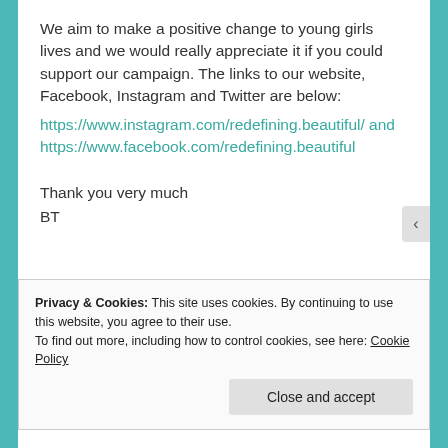We aim to make a positive change to young girls lives and we would really appreciate it if you could support our campaign. The links to our website, Facebook, Instagram and Twitter are below:
https://www.instagram.com/redefining.beautiful/ and https://www.facebook.com/redefining.beautiful
Thank you very much
BT
Privacy & Cookies: This site uses cookies. By continuing to use this website, you agree to their use.
To find out more, including how to control cookies, see here: Cookie Policy